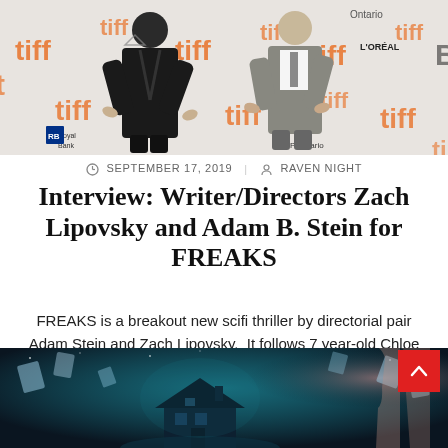[Figure (photo): Two men in suits posing at TIFF (Toronto International Film Festival) red carpet event with tiff branded step-and-repeat backdrop. L'Oreal and Royal Bank logos visible.]
SEPTEMBER 17, 2019  RAVEN NIGHT
Interview: Writer/Directors Zach Lipovsky and Adam B. Stein for FREAKS
FREAKS is a breakout new scifi thriller by directorial pair Adam Stein and Zach Lipovsky.  It follows 7 year-old Chloe (played by Lexy Kolker) as
[Figure (photo): Movie poster or scene from FREAKS film showing a dark haunted-style house at night with mystical blue atmosphere and playing card imagery floating around.]